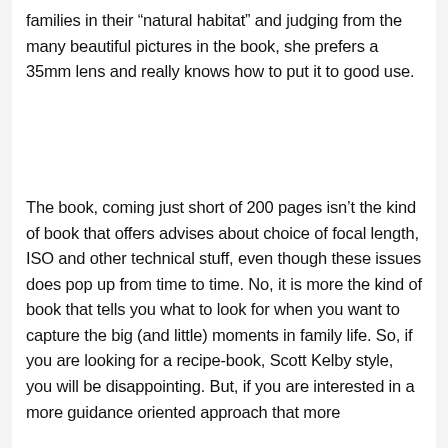families in their “natural habitat” and judging from the many beautiful pictures in the book, she prefers a 35mm lens and really knows how to put it to good use.
The book, coming just short of 200 pages isn’t the kind of book that offers advises about choice of focal length, ISO and other technical stuff, even though these issues does pop up from time to time. No, it is more the kind of book that tells you what to look for when you want to capture the big (and little) moments in family life. So, if you are looking for a recipe-book, Scott Kelby style, you will be disappointing. But, if you are interested in a more guidance oriented approach that more